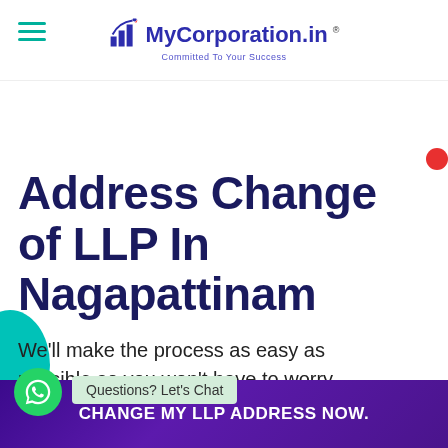[Figure (logo): MyCorporation.in logo with bar chart icon and tagline 'Committed To Your Success']
Address Change of LLP In Nagapattinam
We'll make the process as easy as possible so you won't have to worry about a thing
Questions? Let's Chat
CHANGE MY LLP ADDRESS NOW.